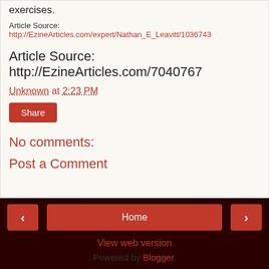exercises.
Article Source: http://EzineArticles.com/expert/Nathan_E_Leavitt/1036743
Article Source: http://EzineArticles.com/7040767
Unknown at 2:23 PM
Share
No comments:
Post a Comment
< Home > View web version Powered by Blogger.